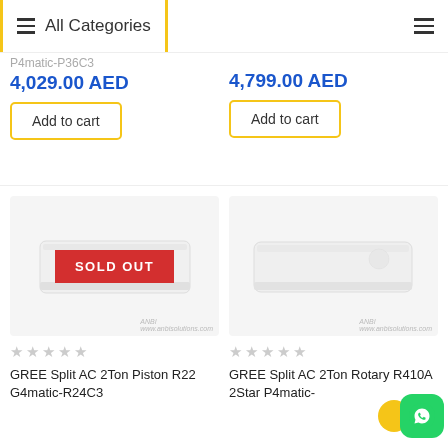All Categories
4,029.00 AED
Add to cart
4,799.00 AED
Add to cart
[Figure (photo): GREE Split AC unit with SOLD OUT badge overlay]
GREE Split AC 2Ton Piston R22 G4matic-R24C3
[Figure (photo): GREE Split AC 2Ton Rotary unit product image]
GREE Split AC 2Ton Rotary R410A 2Star P4matic-